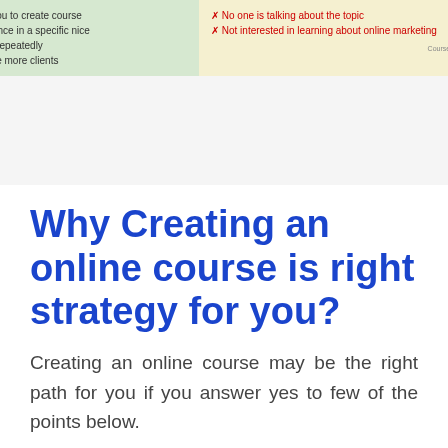[Figure (infographic): Two-column infographic comparing online course creation pros and cons. Green left column with checkmarks listing positive indicators; yellow right column with red X marks listing negative indicators. Small watermark CourseFormula.com at bottom right.]
Why Creating an online course is right strategy for you?
Creating an online course may be the right path for you if you answer yes to few of the points below.
Willing to Take Risk